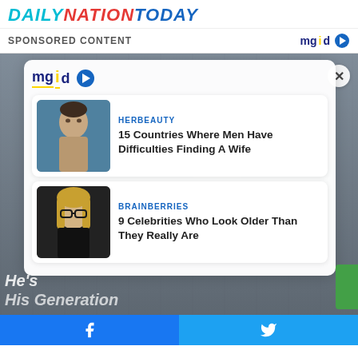DAILYNATIONTODAY
SPONSORED CONTENT
[Figure (screenshot): MGID sponsored content overlay panel showing two article cards on a blurred city background. First article: HERBEAUTY - 15 Countries Where Men Have Difficulties Finding A Wife (with photo of athletic man). Second article: BRAINBERRIES - 9 Celebrities Who Look Older Than They Really Are (with photo of blonde woman with glasses). Close button (X) in top right. MGID logo at top of panel. Social share bar at bottom with Facebook and Twitter icons.]